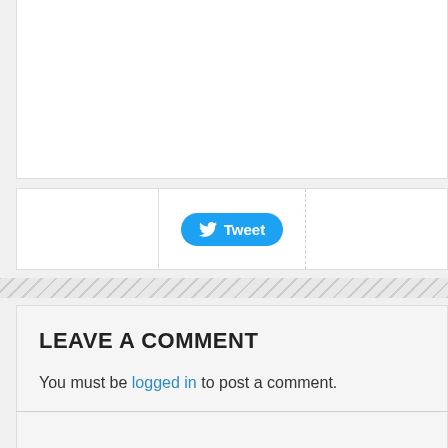[Figure (screenshot): Partial white content box at top of page, cropped]
[Figure (screenshot): Tweet button row with three columns separated by dividers; Twitter blue Tweet button in center column]
[Figure (other): Diagonal stripe divider bar]
LEAVE A COMMENT
You must be logged in to post a comment.
This site uses Akismet to reduce spam. Learn how your comment data is processed.